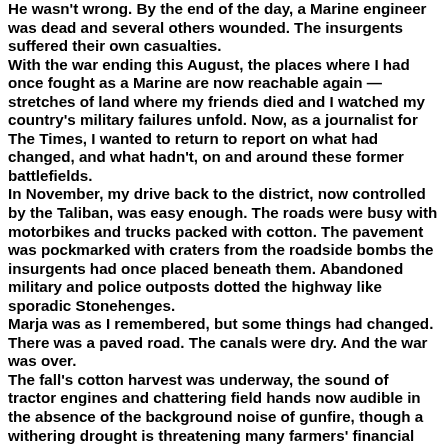He wasn't wrong. By the end of the day, a Marine engineer was dead and several others wounded. The insurgents suffered their own casualties.
With the war ending this August, the places where I had once fought as a Marine are now reachable again — stretches of land where my friends died and I watched my country's military failures unfold. Now, as a journalist for The Times, I wanted to return to report on what had changed, and what hadn't, on and around these former battlefields.
In November, my drive back to the district, now controlled by the Taliban, was easy enough. The roads were busy with motorbikes and trucks packed with cotton. The pavement was pockmarked with craters from the roadside bombs the insurgents had once placed beneath them. Abandoned military and police outposts dotted the highway like sporadic Stonehenges.
Marja was as I remembered, but some things had changed. There was a paved road. The canals were dry. And the war was over.
The fall's cotton harvest was underway, the sound of tractor engines and chattering field hands now audible in the absence of the background noise of gunfire, though a withering drought is threatening many farmers' financial lifelines and the country's economic downturn has affected everyone.
The two-story building we had once occupied as a